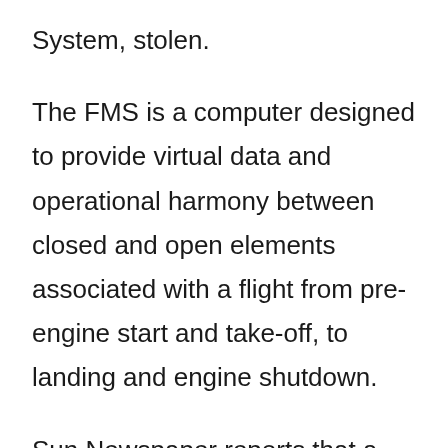System, stolen.
The FMS is a computer designed to provide virtual data and operational harmony between closed and open elements associated with a flight from pre-engine start and take-off, to landing and engine shutdown.
Sun Newspaper reports that a source at the airline said the theft took place in the late hours of Wednesday, January 19 to the early hours of Thursday, January 20 and this led to flights